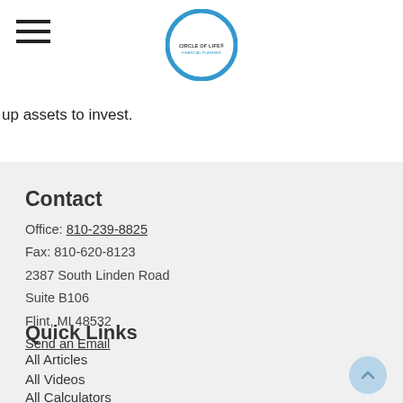Circle of Life Financial Planning — navigation header with hamburger menu and logo
up assets to invest.
Contact
Office: 810-239-8825
Fax: 810-620-8123
2387 South Linden Road
Suite B106
Flint, MI 48532
Send an Email
Quick Links
All Articles
All Videos
All Calculators